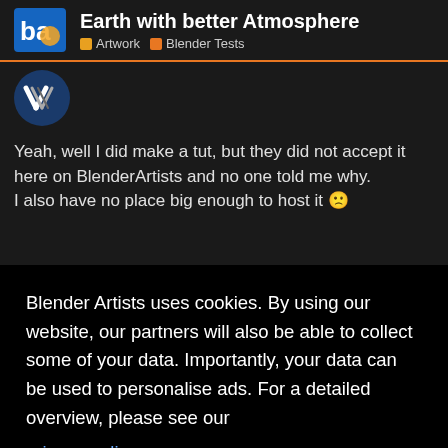Earth with better Atmosphere — Artwork | Blender Tests
[Figure (illustration): User avatar circle with stylized V/slash logo in blue/white]
Yeah, well I did make a tut, but they did not accept it here on BlenderArtists and no one told me why.
I also have no place big enough to host it 🙁
Blender Artists uses cookies. By using our website, our partners will also be able to collect some of your data. Importantly, your data can be used to personalise ads. For a detailed overview, please see our privacy policy page.
Got it!
Jul 2007